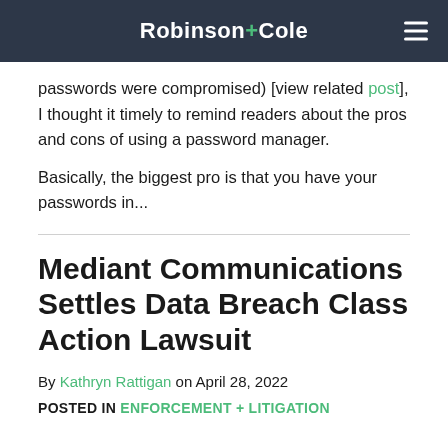Robinson+Cole
passwords were compromised) [view related post], I thought it timely to remind readers about the pros and cons of using a password manager.
Basically, the biggest pro is that you have your passwords in...
Mediant Communications Settles Data Breach Class Action Lawsuit
By Kathryn Rattigan on April 28, 2022
POSTED IN ENFORCEMENT + LITIGATION